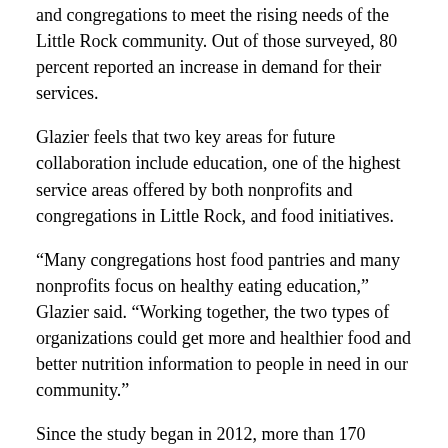and congregations to meet the rising needs of the Little Rock community. Out of those surveyed, 80 percent reported an increase in demand for their services.
Glazier feels that two key areas for future collaboration include education, one of the highest service areas offered by both nonprofits and congregations in Little Rock, and food initiatives.
“Many congregations host food pantries and many nonprofits focus on healthy eating education,” Glazier said. “Working together, the two types of organizations could get more and healthier food and better nutrition information to people in need in our community.”
Since the study began in 2012, more than 170 students have conducted research. When the project began, the researchers investigated the impact of community engagement by congregations. Since 2018, they’ve looked more closely at the role of nonprofit organizations.
The 2019 study focused on surveying and interviewing nonprofit leaders and congregations to understand the alignment between